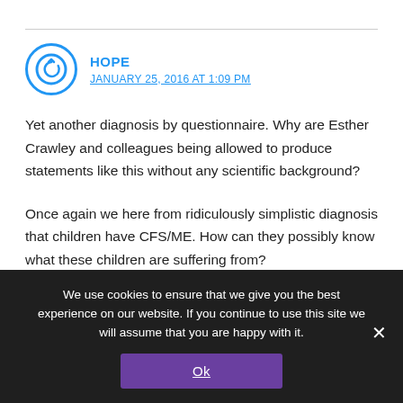[Figure (other): Circular avatar icon with power/refresh symbol in blue circle outline]
HOPE
JANUARY 25, 2016 AT 1:09 PM
Yet another diagnosis by questionnaire. Why are Esther Crawley and colleagues being allowed to produce statements like this without any scientific background?
Once again we here from ridiculously simplistic diagnosis that children have CFS/ME. How can they possibly know what these children are suffering from?
We use cookies to ensure that we give you the best experience on our website. If you continue to use this site we will assume that you are happy with it.